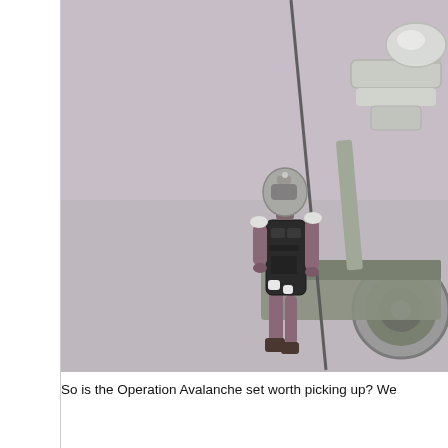[Figure (photo): Photograph of a toy action figure dressed in purple and dark armor, holding a pole or staff, positioned on or beside a military-style vehicle with a large wheel visible. The background is a neutral gray-purple surface.]
So is the Operation Avalanche set worth picking up? We